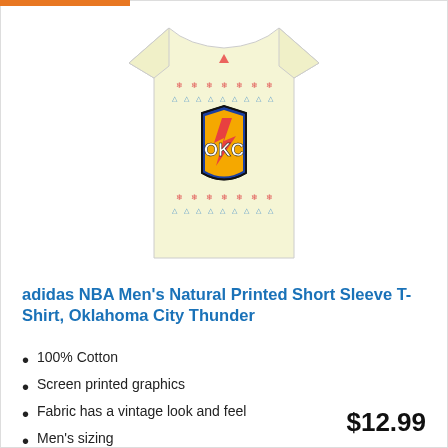[Figure (photo): OKC Oklahoma City Thunder adidas NBA Men's Natural Printed Short Sleeve T-Shirt on a light yellow/cream colored shirt with holiday/ugly sweater style print pattern and OKC Thunder logo in center.]
adidas NBA Men's Natural Printed Short Sleeve T-Shirt, Oklahoma City Thunder
100% Cotton
Screen printed graphics
Fabric has a vintage look and feel
Men's sizing
Officially licensed by the NBA
$12.99